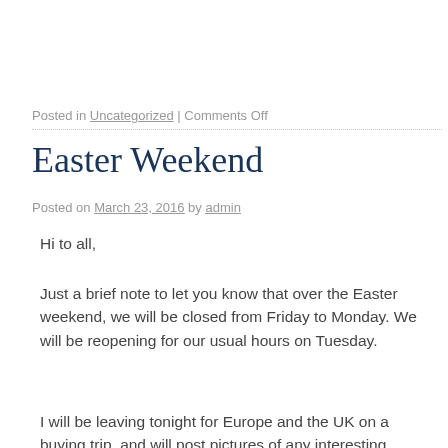Posted in Uncategorized | Comments Off
Easter Weekend
Posted on March 23, 2016 by admin
Hi to all,
Just a brief note to let you know that over the Easter weekend, we will be closed from Friday to Monday. We will be reopening for our usual hours on Tuesday.
I will be leaving tonight for Europe and the UK on a buying trip, and will post pictures of any interesting purchases on our Facebook page.
Kind regards,